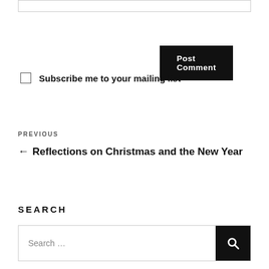Post Comment
Subscribe me to your mailing list
PREVIOUS
← Reflections on Christmas and the New Year
SEARCH
Search …